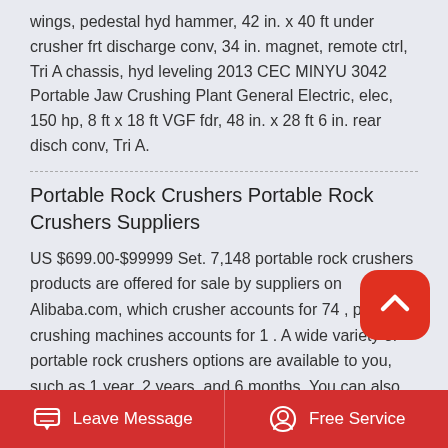wings, pedestal hyd hammer, 42 in. x 40 ft under crusher frt discharge conv, 34 in. magnet, remote ctrl, Tri A chassis, hyd leveling 2013 CEC MINYU 3042 Portable Jaw Crushing Plant General Electric, elec, 150 hp, 8 ft x 18 ft VGF fdr, 48 in. x 28 ft 6 in. rear disch conv, Tri A.
Portable Rock Crushers Portable Rock Crushers Suppliers
US $699.00-$99999 Set. 7,148 portable rock crushers products are offered for sale by suppliers on Alibaba.com, which crusher accounts for 74 , plastic crushing machines accounts for 1 . A wide variety of portable rock crushers options are available to you, such as 1 year, 2 years, and 6 months. You can also choose from new portable rock.
Tons Per Hour Rock Crushing Crusher Mills Cone Crusher
Leave Message | Free Service